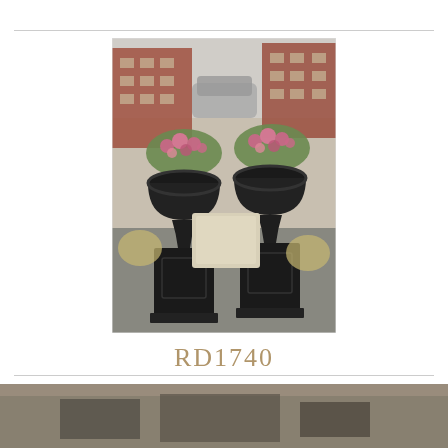[Figure (photo): Two large black cast iron urns with pink flowers on square pedestals, displayed outdoors in a shop yard with a brick building and parked car in background.]
RD1740
[Figure (photo): Partial view of another outdoor garden item at the bottom of the page.]